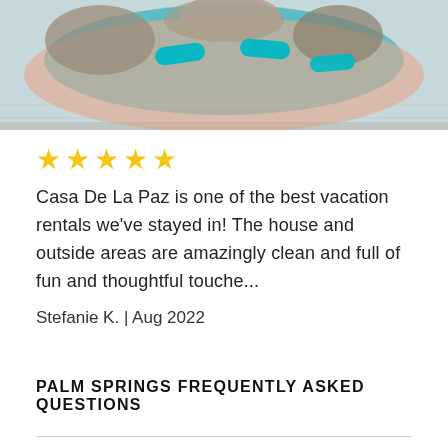[Figure (photo): Aerial or overhead view of a pool area with teal/turquoise lounge chairs and natural stone surroundings with pink/salmon pool deck]
★★★★★
Casa De La Paz is one of the best vacation rentals we've stayed in! The house and outside areas are amazingly clean and full of fun and thoughtful touche...
Stefanie K. | Aug 2022
PALM SPRINGS FREQUENTLY ASKED QUESTIONS
Are vacation rentals in Palm Springs pet-friendly?